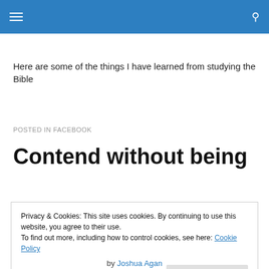Here are some of the things I have learned from studying the Bible
POSTED IN FACEBOOK
Contend without being
Privacy & Cookies: This site uses cookies. By continuing to use this website, you agree to their use.
To find out more, including how to control cookies, see here: Cookie Policy
by Joshua Agan